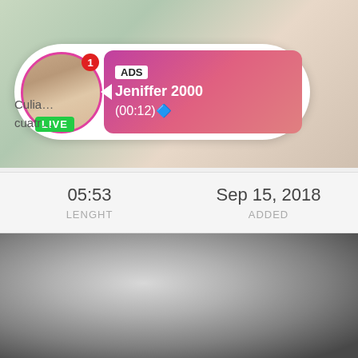[Figure (screenshot): Video thumbnail with overlay ad card showing profile picture with LIVE badge, ADS label, name Jeniffer 2000, time (00:12), and partial Spanish text]
05:53
LENGHT
Sep 15, 2018
ADDED
[Figure (photo): Blurred dark gray/white close-up photo thumbnail]